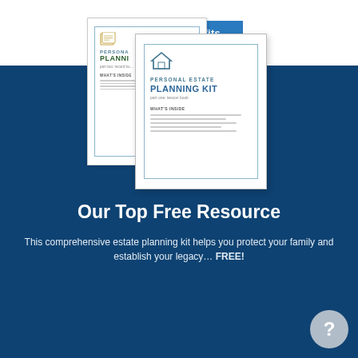See My Benefits
[Figure (illustration): Two overlapping booklets titled 'Personal Estate Planning Kit' — a back booklet (part two: record book) and a front booklet (part one: lesson book), each with a border, icon, and 'What's Inside' section with placeholder lines.]
Our Top Free Resource
This comprehensive estate planning kit helps you protect your family and establish your legacy… FREE!